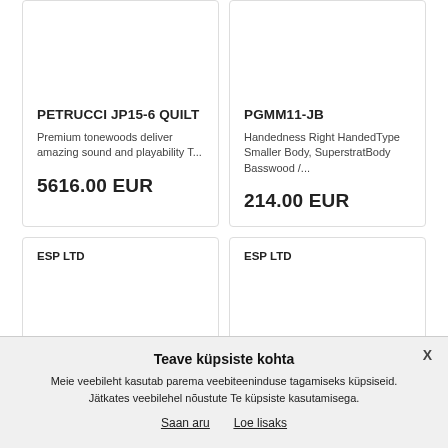PETRUCCI JP15-6 QUILT
Premium tonewoods deliver amazing sound and playability T...
5616.00 EUR
PGMM11-JB
Handedness Right HandedType Smaller Body, SuperstratBody Basswood /...
214.00 EUR
ESP LTD
ESP LTD
Teave küpsiste kohta
Meie veebileht kasutab parema veebiteeninduse tagamiseks küpsiseid. Jätkates veebilehel nõustute Te küpsiste kasutamisega.
Saan aru
Loe lisaks